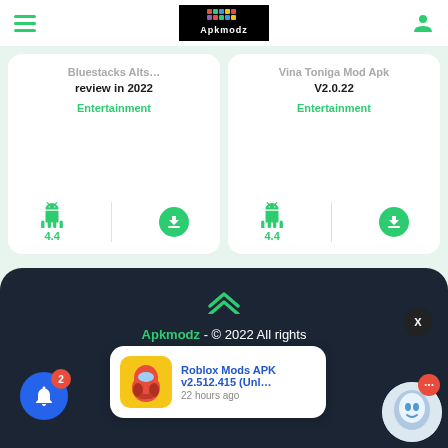Apkmodz header navigation
review in 2022
Entertainment
4.4
Vina Toniga Mod Apk V2.0.22
Entertainment
4.4
Apkmodz - © 2022 All rights reserved - Developer by Apkmodz.in
Roblox Mods APK v2.512.415 (Unl... 22 hours ago